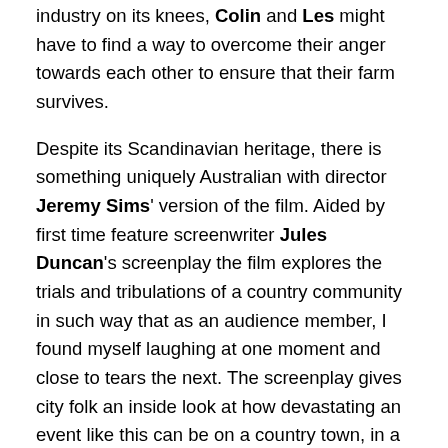industry on its knees, Colin and Les might have to find a way to overcome their anger towards each other to ensure that their farm survives.
Despite its Scandinavian heritage, there is something uniquely Australian with director Jeremy Sims' version of the film. Aided by first time feature screenwriter Jules Duncan's screenplay the film explores the trials and tribulations of a country community in such way that as an audience member, I found myself laughing at one moment and close to tears the next. The screenplay gives city folk an inside look at how devastating an event like this can be on a country town, in a way that we rarely ever get to see on-screen.
While the film does try to infuse some storylines for the